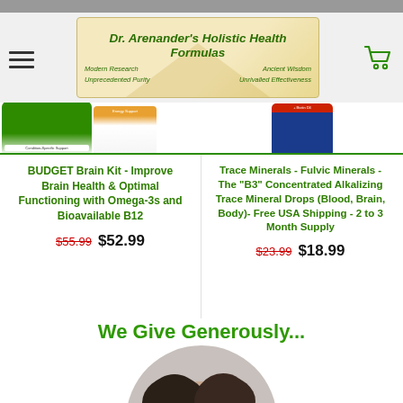Dr. Arenander's Holistic Health Formulas — Modern Research | Ancient Wisdom | Unprecedented Purity | Unrivalled Effectiveness
[Figure (screenshot): Logo banner for Dr. Arenander's Holistic Health Formulas with pyramid graphic and taglines: Modern Research, Ancient Wisdom, Unprecedented Purity, Unrivalled Effectiveness]
[Figure (photo): Two supplement product containers visible at top of page — a green tub labeled Condition-Specific Support and a white bottle labeled Energy Support]
[Figure (photo): Blue bottle of supplement visible on right side]
BUDGET Brain Kit - Improve Brain Health & Optimal Functioning with Omega-3s and Bioavailable B12
$55.99 $52.99
Trace Minerals - Fulvic Minerals - The "B3" Concentrated Alkalizing Trace Mineral Drops (Blood, Brain, Body)- Free USA Shipping - 2 to 3 Month Supply
$23.99 $18.99
We Give Generously...
[Figure (photo): Circular cropped photo showing two people (appears to be two women with dark hair) smiling, bottom portion of page]